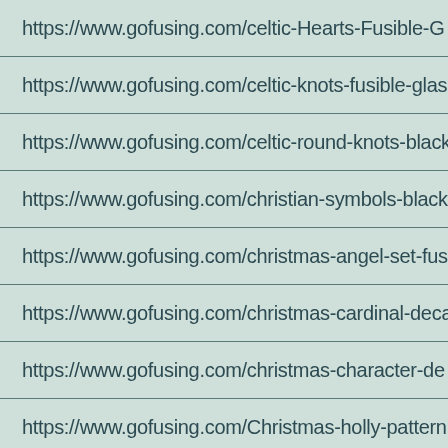| https://www.gofusing.com/celtic-Hearts-Fusible-G |
| https://www.gofusing.com/celtic-knots-fusible-glas |
| https://www.gofusing.com/celtic-round-knots-black |
| https://www.gofusing.com/christian-symbols-black |
| https://www.gofusing.com/christmas-angel-set-fus |
| https://www.gofusing.com/christmas-cardinal-deca |
| https://www.gofusing.com/christmas-character-de |
| https://www.gofusing.com/Christmas-holly-pattern |